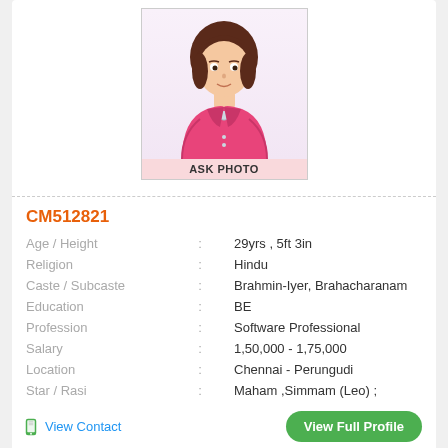[Figure (illustration): Female avatar placeholder photo with pink blazer and 'ASK PHOTO' label at bottom]
CM512821
| Age / Height | : | 29yrs , 5ft 3in |
| Religion | : | Hindu |
| Caste / Subcaste | : | Brahmin-Iyer, Brahacharanam |
| Education | : | BE |
| Profession | : | Software Professional |
| Salary | : | 1,50,000 - 1,75,000 |
| Location | : | Chennai - Perungudi |
| Star / Rasi | : | Maham ,Simmam (Leo) ; |
View Contact
View Full Profile
[Figure (photo): Partially visible photo at bottom of page, dark background with diagonal stripes]